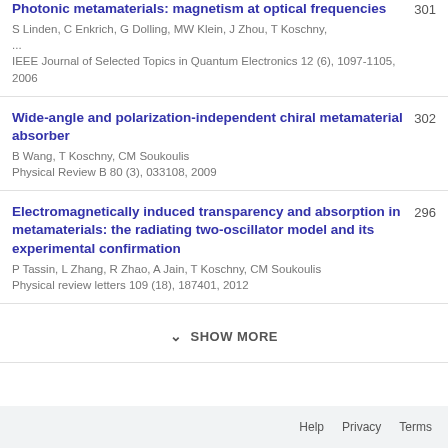Photonic metamaterials: magnetism at optical frequencies
S Linden, C Enkrich, G Dolling, MW Klein, J Zhou, T Koschny, ...
IEEE Journal of Selected Topics in Quantum Electronics 12 (6), 1097-1105, 2006
301
Wide-angle and polarization-independent chiral metamaterial absorber
B Wang, T Koschny, CM Soukoulis
Physical Review B 80 (3), 033108, 2009
302
Electromagnetically induced transparency and absorption in metamaterials: the radiating two-oscillator model and its experimental confirmation
P Tassin, L Zhang, R Zhao, A Jain, T Koschny, CM Soukoulis
Physical review letters 109 (18), 187401, 2012
296
SHOW MORE
Help   Privacy   Terms